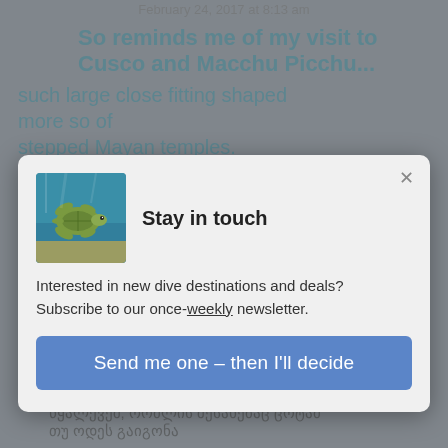February 24, 2017 at 8:13 am
So reminds me of my visit to Cusco and Macchu Picchu... such large close fitting shaped more so of stepped Mayan temples.
Reply
[Figure (screenshot): Modal popup with turtle image, title 'Stay in touch', newsletter subscription text, and blue CTA button]
Stay in touch
Interested in new dive destinations and deals? Subscribe to our once-weekly newsletter.
Send me one – then I'll decide
It's the steps that got me – each the same height, and perfectly straight. And those two columns!
Reply
2. Pingback: 9 საიდუმლო მობეჟტი წყალქვეშ, რომლის შესახებაც ცოტამ თუ ოდეს გაიგონა